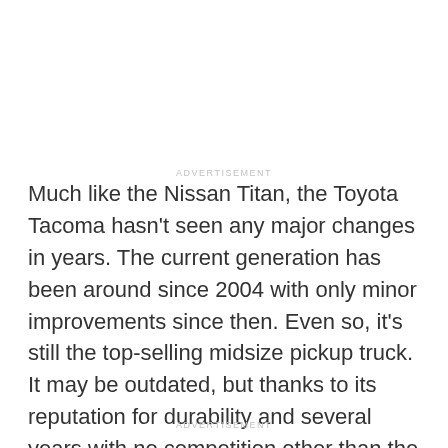ADVERTISEMENT
Much like the Nissan Titan, the Toyota Tacoma hasn't seen any major changes in years. The current generation has been around since 2004 with only minor improvements since then. Even so, it's still the top-selling midsize pickup truck. It may be outdated, but thanks to its reputation for durability and several years with no competition other than the Nissan Frontier, its sales never really suffered.
ADVERTISEMENT